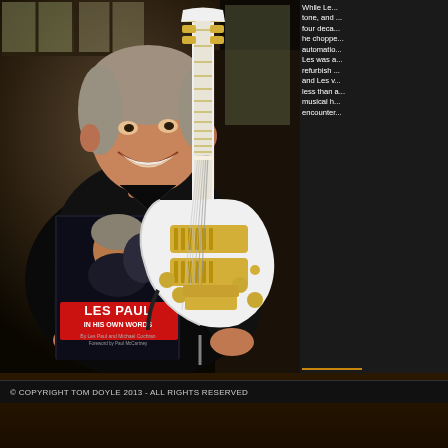[Figure (photo): Man in black shirt smiling, holding a white Les Paul guitar and a book titled 'Les Paul In His Own Words']
While Le... tone, and ... four deca... he choppe... automatio... Les was a... refurbish ... and Les v... less than a... musical h... encounter...
Tom holds the same guitar Les Paul used to play this g... it for his a...
© COPYRIGHT TOM DOYLE 2013 - ALL RIGHTS RESERVED